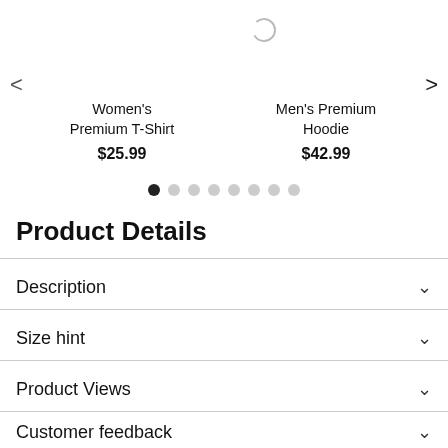[Figure (screenshot): E-commerce product carousel showing Women's Premium T-Shirt at $25.99 and Men's Premium Hoodie at $42.99, with left/right navigation arrows, a loading spinner, and dot pagination indicators (8 dots, first active).]
Product Details
Description
Size hint
Product Views
Customer feedback